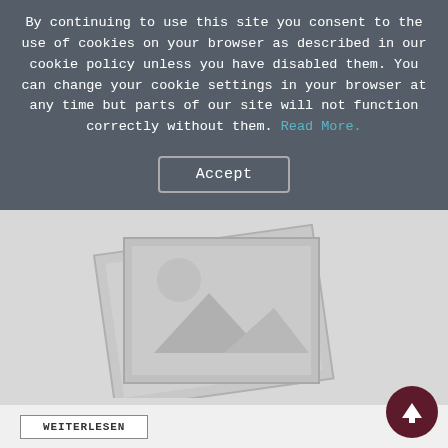By continuing to use this site you consent to the use of cookies on your browser as described in our cookie policy unless you have disabled them. You can change your cookie settings in your browser at any time but parts of our site will not function correctly without them. Read More.
Accept
[Figure (illustration): Placeholder image graphic showing stacked image icon with mountain/sun silhouette, gray tones]
WEITERLESEN